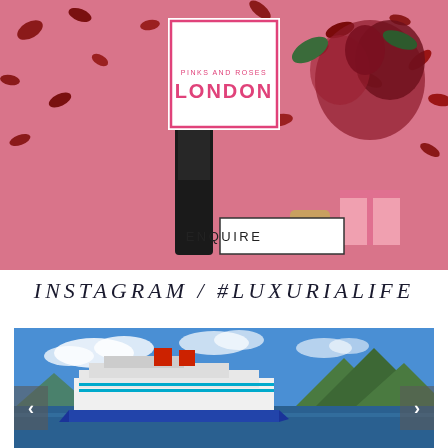[Figure (photo): Pink background lifestyle photo with rose petals falling and a dark bottle with floral arrangement, overlaid with Pinks and Roses London logo and Enquire button]
INSTAGRAM / #LUXURIALIFE
[Figure (photo): Cruise ship in a bay with mountains and blue sky in the background, with left and right navigation arrows]